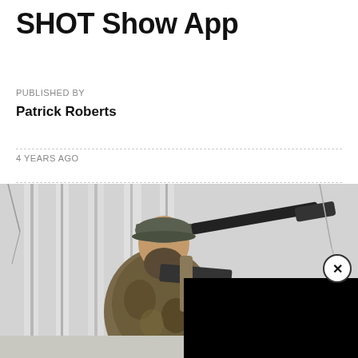SHOT Show App
PUBLISHED BY
Patrick Roberts
4 YEARS AGO
[Figure (photo): A bearded man wearing camouflage clothing and a grey cap, holding a rifle with a suppressor, standing in front of white birch trees. Part of the image is covered by a black overlay panel with a close/X button.]